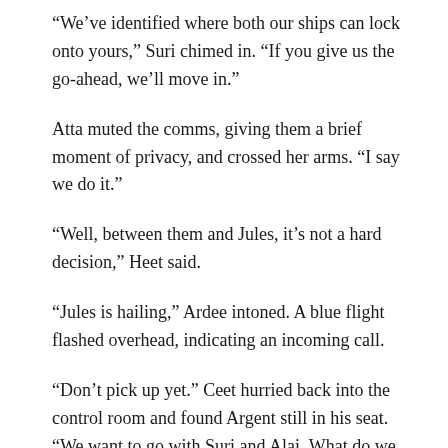“We’ve identified where both our ships can lock onto yours,” Suri chimed in. “If you give us the go-ahead, we’ll move in.”
Atta muted the comms, giving them a brief moment of privacy, and crossed her arms. “I say we do it.”
“Well, between them and Jules, it’s not a hard decision,” Heet said.
“Jules is hailing,” Ardee intoned. A blue flight flashed overhead, indicating an incoming call.
“Don’t pick up yet.” Ceet hurried back into the control room and found Argent still in his seat. “We want to go with Suri and Alai. What do we tell Jules?”